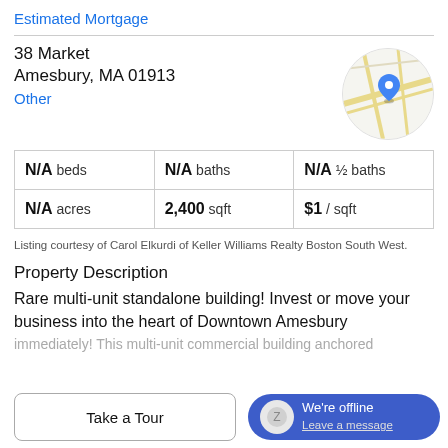Estimated Mortgage
38 Market
Amesbury, MA 01913
Other
[Figure (map): Circular map thumbnail showing Amesbury MA location with a blue map pin marker]
| N/A beds | N/A baths | N/A ½ baths |
| N/A acres | 2,400 sqft | $1 / sqft |
Listing courtesy of Carol Elkurdi of Keller Williams Realty Boston South West.
Property Description
Rare multi-unit standalone building! Invest or move your business into the heart of Downtown Amesbury
immediately! This multi-unit commercial building anchored
Take a Tour
We're offline
Leave a message